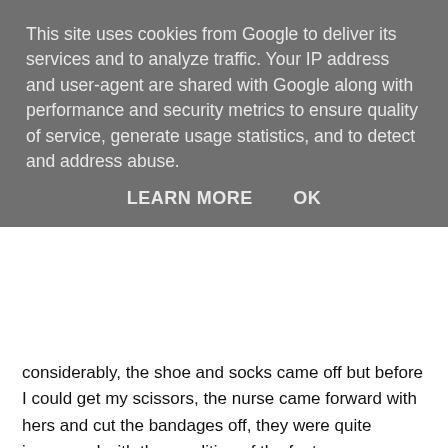This site uses cookies from Google to deliver its services and to analyze traffic. Your IP address and user-agent are shared with Google along with performance and security metrics to ensure quality of service, generate usage statistics, and to detect and address abuse.
LEARN MORE    OK
considerably, the shoe and socks came off but before I could get my scissors, the nurse came forward with hers and cut the bandages off, they were quite impressed with the condition of the foot.
New treatments recommended
The consultant advised that I reduce the use of special shoe by half over the next two weeks. I could now use my normal shoes for outdoors and the orthopaedic shoe mainly for indoor use, they also recommended that the Mepitel dressing be discontinued because the dressing will now not help the skin thicken and firm up as it should, the Vaseline massages of the soles should also stop because the grease